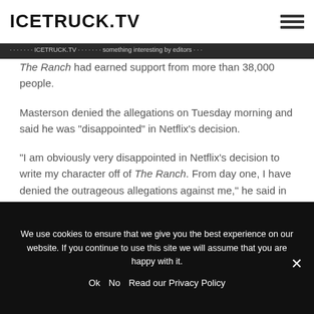ICETRUCK.TV
The Ranch had earned support from more than 38,000 people.
Masterson denied the allegations on Tuesday morning and said he was "disappointed" in Netflix's decision.
“I am obviously very disappointed in Netflix’s decision to write my character off of The Ranch. From day one, I have denied the outrageous allegations against me,” he said in a statement. “Law enforcement investigated
We use cookies to ensure that we give you the best experience on our website. If you continue to use this site we will assume that you are happy with it.
Ok   No   Read our Privacy Policy